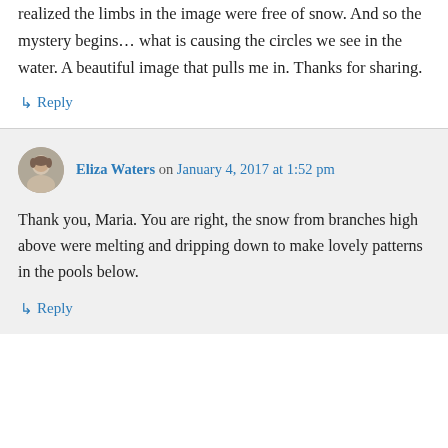realized the limbs in the image were free of snow. And so the mystery begins… what is causing the circles we see in the water. A beautiful image that pulls me in. Thanks for sharing.
↳ Reply
Eliza Waters on January 4, 2017 at 1:52 pm
Thank you, Maria. You are right, the snow from branches high above were melting and dripping down to make lovely patterns in the pools below.
↳ Reply